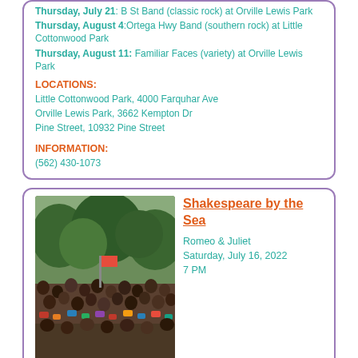Thursday, July 21: B St Band (classic rock) at Orville Lewis Park
Thursday, August 4: Ortega Hwy Band (southern rock) at Little Cottonwood Park
Thursday, August 11: Familiar Faces (variety) at Orville Lewis Park
LOCATIONS:
Little Cottonwood Park, 4000 Farquhar Ave
Orville Lewis Park, 3662 Kempton Dr
Pine Street, 10932 Pine Street
INFORMATION:
(562) 430-1073
Shakespeare by the Sea
[Figure (photo): Outdoor crowd seated at a park event, trees visible in background, people with chairs and bags]
Romeo & Juliet
Saturday, July 16, 2022
7 PM
Much Ado About Nothing
Sunday, July 17, 2022
7 PM